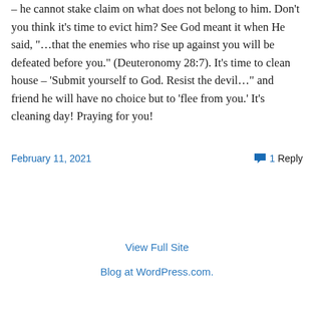– he cannot stake claim on what does not belong to him. Don't you think it's time to evict him? See God meant it when He said, "…that the enemies who rise up against you will be defeated before you." (Deuteronomy 28:7). It's time to clean house – 'Submit yourself to God. Resist the devil…" and friend he will have no choice but to 'flee from you.' It's cleaning day! Praying for you!
February 11, 2021
1 Reply
View Full Site
Blog at WordPress.com.